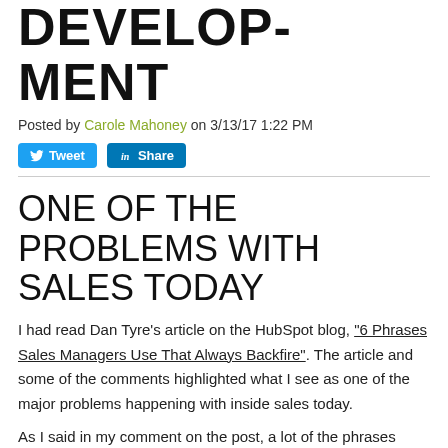DEVELOPMENT
Posted by Carole Mahoney on 3/13/17 1:22 PM
[Figure (other): Tweet and LinkedIn Share social media buttons]
ONE OF THE PROBLEMS WITH SALES TODAY
I had read Dan Tyre's article on the HubSpot blog, "6 Phrases Sales Managers Use That Always Backfire". The article and some of the comments highlighted what I see as one of the major problems happening with inside sales today.
As I said in my comment on the post, a lot of the phrases